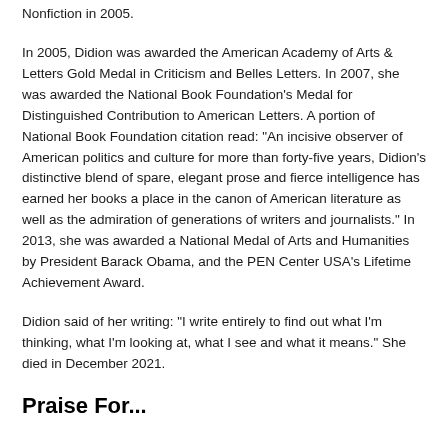Nonfiction in 2005.
In 2005, Didion was awarded the American Academy of Arts & Letters Gold Medal in Criticism and Belles Letters. In 2007, she was awarded the National Book Foundation's Medal for Distinguished Contribution to American Letters. A portion of National Book Foundation citation read: "An incisive observer of American politics and culture for more than forty-five years, Didion's distinctive blend of spare, elegant prose and fierce intelligence has earned her books a place in the canon of American literature as well as the admiration of generations of writers and journalists." In 2013, she was awarded a National Medal of Arts and Humanities by President Barack Obama, and the PEN Center USA's Lifetime Achievement Award.
Didion said of her writing: "I write entirely to find out what I'm thinking, what I'm looking at, what I see and what it means." She died in December 2021.
Praise For...